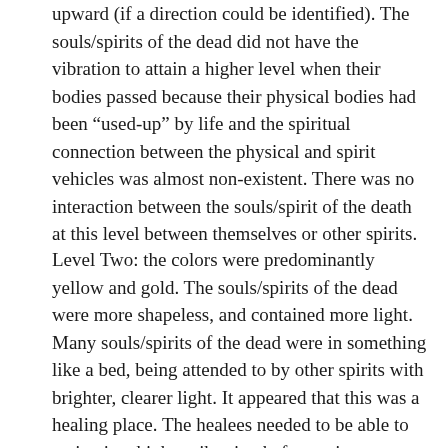upward (if a direction could be identified). The souls/spirits of the dead did not have the vibration to attain a higher level when their bodies passed because their physical bodies had been “used-up” by life and the spiritual connection between the physical and spirit vehicles was almost non-existent. There was no interaction between the souls/spirit of the death at this level between themselves or other spirits.
Level Two: the colors were predominantly yellow and gold. The souls/spirits of the dead were more shapeless, and contained more light. Many souls/spirits of the dead were in something like a bed, being attended to by other spirits with brighter, clearer light. It appeared that this was a healing place. The healees needed to be able to maintain a higher vibration before going on to the next level. The healers were helping in the process, volunteering their services. Again, there was little interaction between the souls/spirits of the